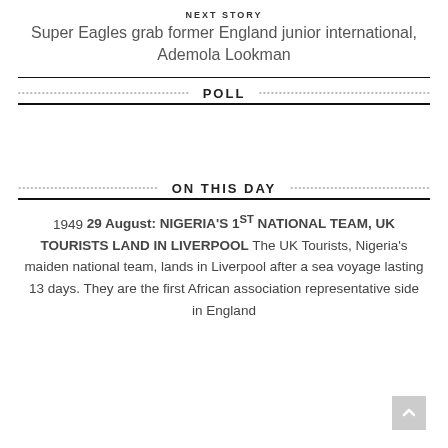NEXT STORY
Super Eagles grab former England junior international, Ademola Lookman
POLL
ON THIS DAY
1949 29 August: NIGERIA'S 1ST NATIONAL TEAM, UK TOURISTS LAND IN LIVERPOOL The UK Tourists, Nigeria's maiden national team, lands in Liverpool after a sea voyage lasting 13 days. They are the first African association representative side in England